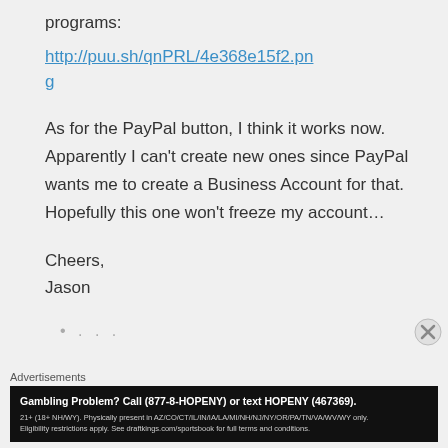programs:
http://puu.sh/qnPRL/4e368e15f2.png
As for the PayPal button, I think it works now. Apparently I can't create new ones since PayPal wants me to create a Business Account for that. Hopefully this one won't freeze my account…
Cheers,
Jason
• . . .
Advertisements
Gambling Problem? Call (877-8-HOPENY) or text HOPENY (467369).
21+ (18+ NH/WY). Physically present in AZ/CO/CT/IL/IN/IA/LA/MI/NH/NJ/NY/OR/PA/TN/VA/WV/WY only.
Eligibility restrictions apply. See draftkings.com/sportsbook for full terms and conditions.